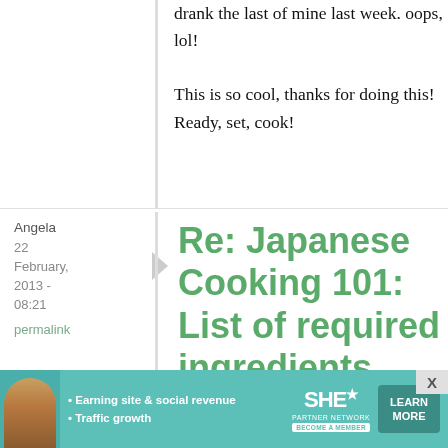drank the last of mine last week. oops, lol!

This is so cool, thanks for doing this! Ready, set, cook!
Angela
22 February, 2013 - 08:21
permalink
Re: Japanese Cooking 101: List of required ingredients
[Figure (infographic): Advertisement banner for SHE Media Partner Network with text: Earning site & social revenue, Traffic growth, LEARN MORE button]